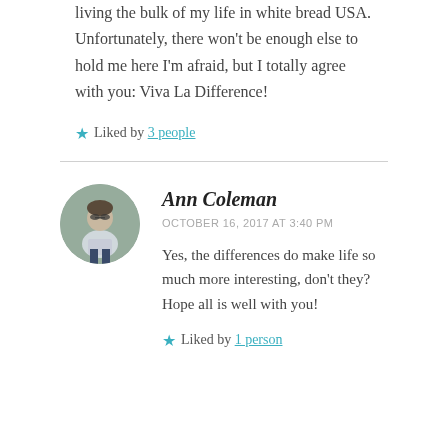living the bulk of my life in white bread USA. Unfortunately, there won't be enough else to hold me here I'm afraid, but I totally agree with you: Viva La Difference!
Liked by 3 people
[Figure (illustration): Circular avatar photo of Ann Coleman, a person standing outdoors wearing sunglasses and light-colored top with dark pants, against a rocky/nature background.]
Ann Coleman
OCTOBER 16, 2017 AT 3:40 PM
Yes, the differences do make life so much more interesting, don't they? Hope all is well with you!
Liked by 1 person